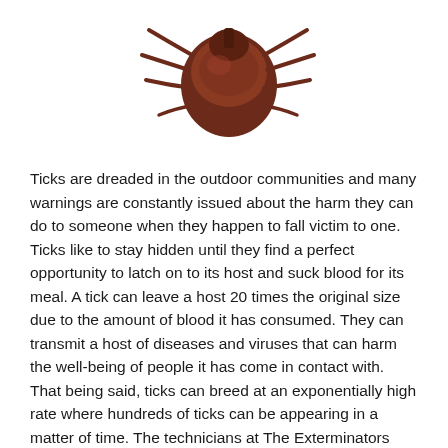[Figure (photo): Close-up photo of a tick (arachnid) viewed from above, showing its reddish-brown body and legs, on a white background.]
Ticks are dreaded in the outdoor communities and many warnings are constantly issued about the harm they can do to someone when they happen to fall victim to one. Ticks like to stay hidden until they find a perfect opportunity to latch on to its host and suck blood for its meal. A tick can leave a host 20 times the original size due to the amount of blood it has consumed. They can transmit a host of diseases and viruses that can harm the well-being of people it has come in contact with. That being said, ticks can breed at an exponentially high rate where hundreds of ticks can be appearing in a matter of time. The technicians at The Exterminators can offer preventive